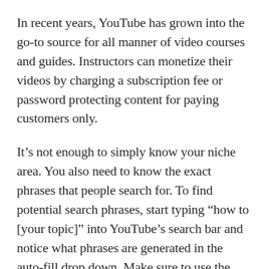In recent years, YouTube has grown into the go-to source for all manner of video courses and guides. Instructors can monetize their videos by charging a subscription fee or password protecting content for paying customers only.
It's not enough to simply know your niche area. You also need to know the exact phrases that people search for. To find potential search phrases, start typing “how to [your topic]” into YouTube’s search bar and notice what phrases are generated in the auto-fill drop down. Make sure to use the same keywords when you write your video title, description, and tags.